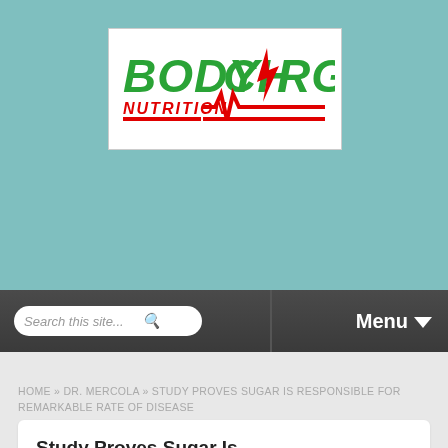[Figure (logo): Body Charge Nutrition logo: green bold text 'BODY CHARGE' with red lightning bolt and red 'NUTRITION' text with heartbeat line]
Search this site...
Menu
HOME » DR. MERCOLA » STUDY PROVES SUGAR IS RESPONSIBLE FOR REMARKABLE RATE OF DISEASE
Study Proves Sugar Is Responsible for Remarkable Rate of Disease
Posted on October 31st
By Dr. Mercola
Refined sugar was not consumed on a daily basis until the past 100 years. Before that, it was a treat afforded only by the very